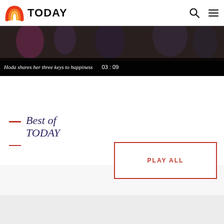[Figure (logo): TODAY show logo with rainbow arc icon and bold TODAY text]
[Figure (screenshot): Video banner showing dark scene with people, with caption bar at bottom]
Hoda shares her three keys to happiness  03:09
Best of TODAY
[Figure (other): PLAY ALL button with red border on white background]